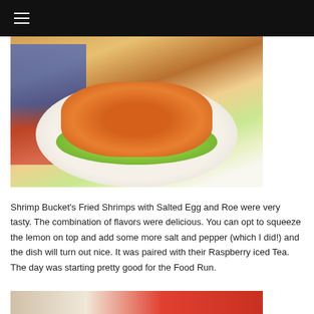≡
[Figure (photo): Photo of Shrimp Bucket's Fried Shrimps with Salted Egg and Roe served on a lettuce-lined white plate, with colorful items visible in the background.]
Shrimp Bucket's Fried Shrimps with Salted Egg and Roe were very tasty. The combination of flavors were delicious. You can opt to squeeze the lemon on top and add some more salt and pepper (which I did!) and the dish will turn out nice. It was paired with their Raspberry iced Tea. The day was starting pretty good for the Food Run.
[Figure (photo): Partial photo of a drink (likely Raspberry iced Tea) with a red menu card visible on the right side.]